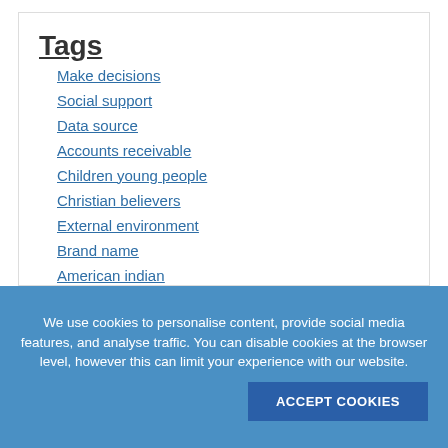Tags
Make decisions
Social support
Data source
Accounts receivable
Children young people
Christian believers
External environment
Brand name
American indian
Sample size
We use cookies to personalise content, provide social media features, and analyse traffic. You can disable cookies at the browser level, however this can limit your experience with our website.
Accept Cookies